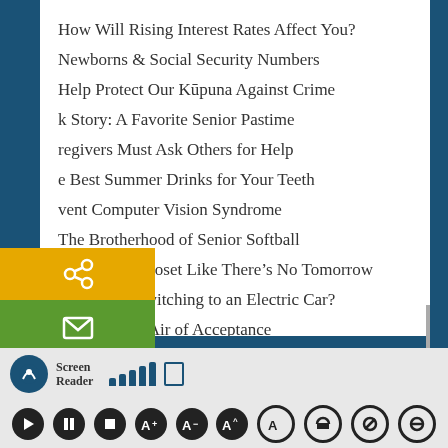How Will Rising Interest Rates Affect You?
Newborns & Social Security Numbers
Help Protect Our Kūpuna Against Crime
k Story: A Favorite Senior Pastime
regivers Must Ask Others for Help
e Best Summer Drinks for Your Teeth
vent Computer Vision Syndrome
The Brotherhood of Senior Softball
Clean Your Closet Like There's No Tomorrow
Is It Worth Switching to an Electric Car?
The Rarified Air of Acceptance